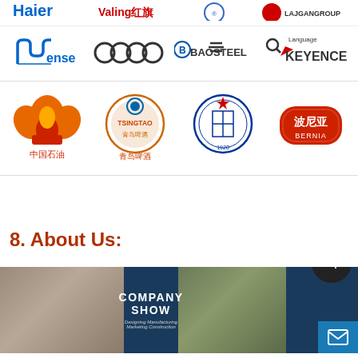[Figure (logo): Row of company logos: Haier (partially visible), Valing/红旗 (partially visible), unknown blue logo (partially visible), LAJGANGROUP (partially visible), Nense, Audi, Baosteel, Keyence Language]
[Figure (logo): Row of company logos: PetroChina (中国石油), Tsingtao Beer (青岛啤酒), Harbin Institute of Technology (school crest), Benia (波尼亚)]
8. About Us:
[Figure (photo): Company Show banner with factory/warehouse interior photos on left and right, centered text 'COMPANY SHOW' on dark blue background, subtitle 'Designing Manufacturing Marketing Construction']